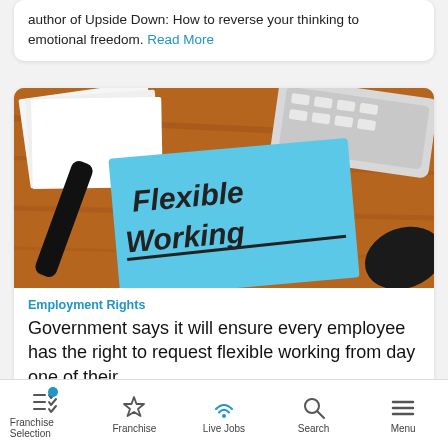author of Upside Down: How to reverse your thinking to emotional freedom. Read More
[Figure (photo): A blue sticky note with 'Flexible Working' written in marker on a wooden desk, with papers and a keyboard in the background]
Employment Rights
Government says it will ensure every employee has the right to request flexible working from day one of their
Franchise Selection   Franchise   Live Jobs   Search   Menu